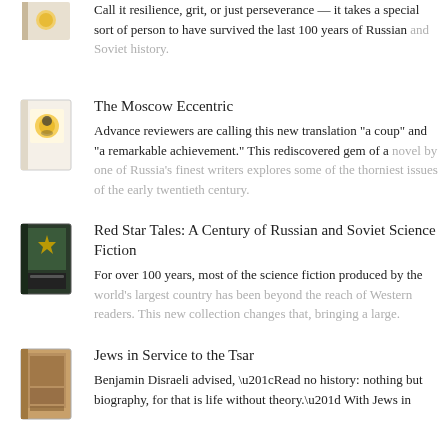Call it resilience, grit, or just perseverance — it takes a special sort of person to have survived the last 100 years of Russian and Soviet history.
The Moscow Eccentric
Advance reviewers are calling this new translation "a coup" and "a remarkable achievement." This rediscovered gem of a novel by one of Russia's finest writers explores some of the thorniest issues of the early twentieth century.
Red Star Tales: A Century of Russian and Soviet Science Fiction
For over 100 years, most of the science fiction produced by the world's largest country has been beyond the reach of Western readers. This new collection changes that, bringing a large.
Jews in Service to the Tsar
Benjamin Disraeli advised, “Read no history: nothing but biography, for that is life without theory.” With Jews in